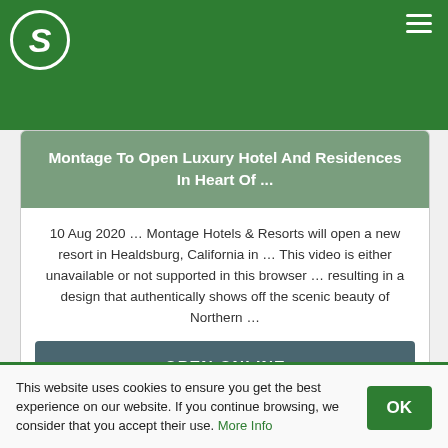S
Montage To Open Luxury Hotel And Residences In Heart Of ...
10 Aug 2020 ... Montage Hotels & Resorts will open a new resort in Healdsburg, California in ... This video is either unavailable or not supported in this browser ... resulting in a design that authentically shows off the scenic beauty of Northern ...
OPEN ONLINE
This website uses cookies to ensure you get the best experience on our website. If you continue browsing, we consider that you accept their use. More Info